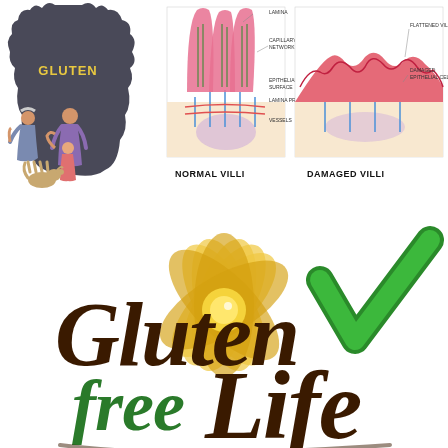[Figure (illustration): Top left: illustration of a family (grandparent, adult, child, dog) being threatened/overshadowed by a dark bear-shaped silhouette with 'GLUTEN' written on it in yellow text]
[Figure (illustration): Top right: medical diagram comparing Normal Villi and Damaged Villi cross-sections of intestinal tissue, with labeled anatomical structures including capillary network, epithelial cells, flattened villi, and damaged epithelial cells]
NORMAL VILLI
DAMAGED VILLI
[Figure (logo): Large 'Gluten free Life' logo in brown cursive/script font with a golden sunflower/lotus petal design behind it and a large green checkmark overlaid on the right side]